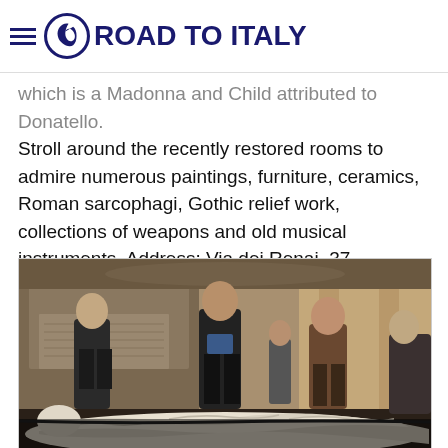Road To Italy
which is a Madonna and Child attributed to Donatello. Stroll around the recently restored rooms to admire numerous paintings, furniture, ceramics, Roman sarcophagi, Gothic relief work, collections of weapons and old musical instruments. Address: Via dei Renai, 37.
[Figure (photo): Visitors standing around a white marble reclining sculpture in an ornate museum room with carved stone monuments and decorated walls.]